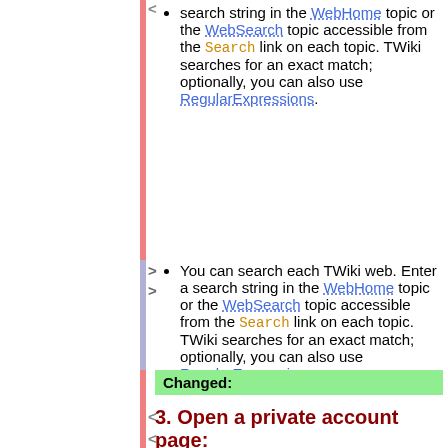You can search each TWiki web. Enter a search string in the WebHome topic or the WebSearch topic accessible from the Search link on each topic. TWiki searches for an exact match; optionally, you can also use RegularExpressions.
You can search each TWiki web. Enter a search string in the WebHome topic or the WebSearch topic accessible from the Search link on each topic. TWiki searches for an exact match; optionally, you can also use RegularExpressions.
Changed:
3. Open a private account page:
To edit topics, you need to have a TWiki account.
Go to the TWikiRegistration page to create your TWiki account.